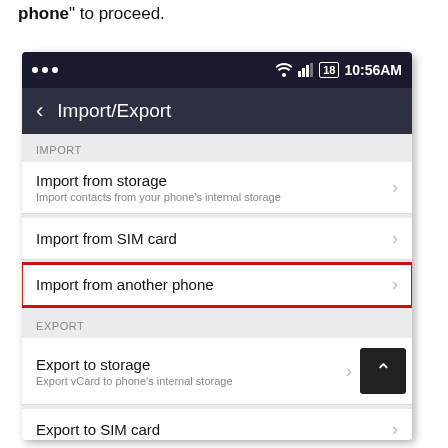phone" to proceed.
[Figure (screenshot): Android phone screenshot showing Import/Export contacts menu with options: Import from storage, Import from SIM card, Import from another phone (highlighted with red border), Export section with Export to storage, Export to SIM card. Status bar shows 10:56AM.]